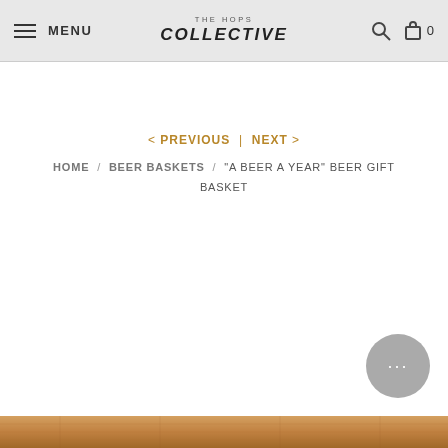MENU | THE HOPS COLLECTIVE | 0
< PREVIOUS | NEXT >
HOME / BEER BASKETS / "A BEER A YEAR" BEER GIFT BASKET
[Figure (photo): Partial view of a wooden surface or beer basket at the bottom of the page]